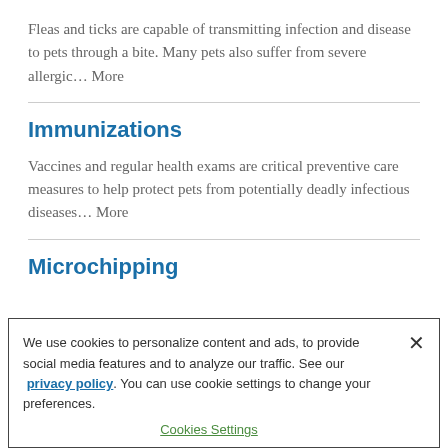Fleas and ticks are capable of transmitting infection and disease to pets through a bite. Many pets also suffer from severe allergic… More
Immunizations
Vaccines and regular health exams are critical preventive care measures to help protect pets from potentially deadly infectious diseases… More
Microchipping
We use cookies to personalize content and ads, to provide social media features and to analyze our traffic. See our privacy policy. You can use cookie settings to change your preferences.
Cookies Settings